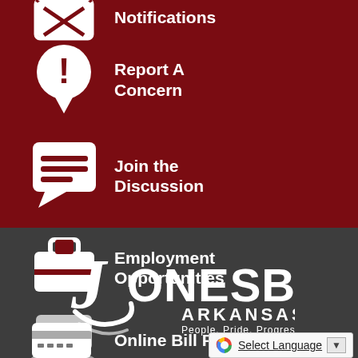Notifications
Report A Concern
Join the Discussion
Employment Opportunities
Online Bill Pay
[Figure (logo): Jonesboro Arkansas People. Pride. Progress. city logo in white on dark gray background]
Select Language